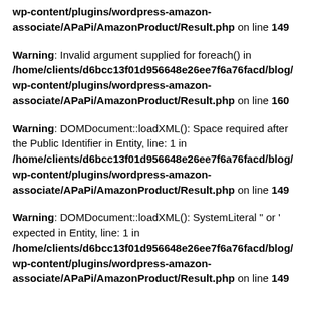wp-content/plugins/wordpress-amazon-associate/APaPi/AmazonProduct/Result.php on line 149
Warning: Invalid argument supplied for foreach() in /home/clients/d6bcc13f01d956648e26ee7f6a76facd/blog/wp-content/plugins/wordpress-amazon-associate/APaPi/AmazonProduct/Result.php on line 160
Warning: DOMDocument::loadXML(): Space required after the Public Identifier in Entity, line: 1 in /home/clients/d6bcc13f01d956648e26ee7f6a76facd/blog/wp-content/plugins/wordpress-amazon-associate/APaPi/AmazonProduct/Result.php on line 149
Warning: DOMDocument::loadXML(): SystemLiteral " or ' expected in Entity, line: 1 in /home/clients/d6bcc13f01d956648e26ee7f6a76facd/blog/wp-content/plugins/wordpress-amazon-associate/APaPi/AmazonProduct/Result.php on line 149